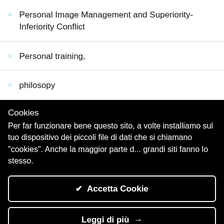Personal Image Management and Superiority-Inferiority Conflict
Personal training,
philosopy
Cookies
Per far funzionare bene questo sito, a volte installiamo sul tuo dispositivo dei piccoli file di dati che si chiamano "cookies". Anche la maggior parte d... grandi siti fanno lo stesso.
✔  Accetta Cookie
Leggi di più  →
Impostazioni Cookie  ✦
Principi del cambiamento (regole di cambiamento)